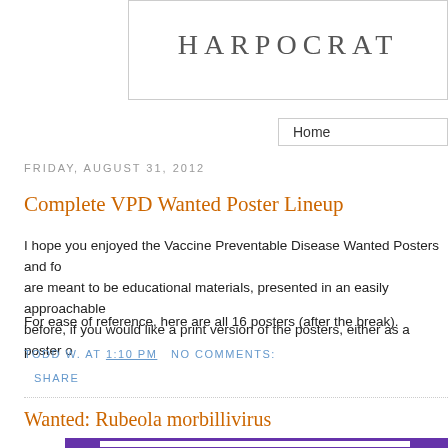HARPOCRAT
Home
FRIDAY, AUGUST 31, 2012
Complete VPD Wanted Poster Lineup
I hope you enjoyed the Vaccine Preventable Disease Wanted Posters and fo are meant to be educational materials, presented in an easily approachable before, if you would like a print version of the posters, either as a poster o
For ease of reference, here are all 16 posters (after the break).
TODD W. AT 1:10 PM   NO COMMENTS:
SHARE
Wanted: Rubeola morbillivirus
[Figure (photo): Wanted poster for Rubeola morbillivirus with purple border and WANTED text visible at bottom]